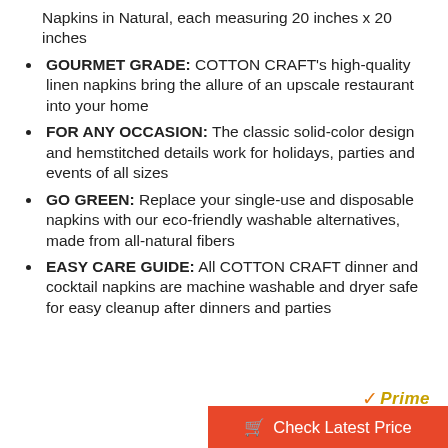Napkins in Natural, each measuring 20 inches x 20 inches
GOURMET GRADE: COTTON CRAFT's high-quality linen napkins bring the allure of an upscale restaurant into your home
FOR ANY OCCASION: The classic solid-color design and hemstitched details work for holidays, parties and events of all sizes
GO GREEN: Replace your single-use and disposable napkins with our eco-friendly washable alternatives, made from all-natural fibers
EASY CARE GUIDE: All COTTON CRAFT dinner and cocktail napkins are machine washable and dryer safe for easy cleanup after dinners and parties